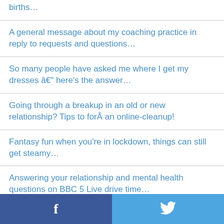births…
A general message about my coaching practice in reply to requests and questions…
So many people have asked me where I get my dresses â€" here's the answer…
Going through a breakup in an old or new relationship? Tips to forÂ an online-cleanup!
Fantasy fun when you're in lockdown, things can still get steamy…
Answering your relationship and mental health questions on BBC 5 Live drive time…
f  🐦